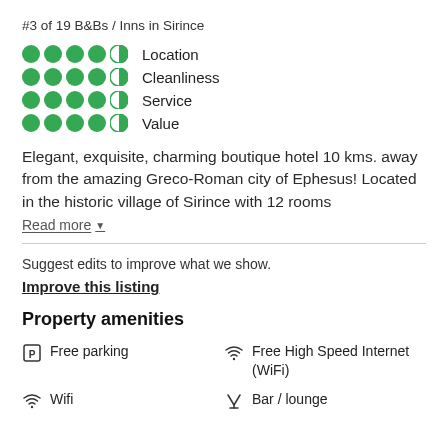#3 of 19 B&Bs / Inns in Sirince
[Figure (infographic): Four rating rows with bubble icons: Location (4.5/5), Cleanliness (4.5/5), Service (4.5/5), Value (4.5/5)]
Elegant, exquisite, charming boutique hotel 10 kms. away from the amazing Greco-Roman city of Ephesus! Located in the historic village of Sirince with 12 rooms
Read more
Suggest edits to improve what we show.
Improve this listing
Property amenities
Free parking
Free High Speed Internet (WiFi)
Wifi
Bar / lounge